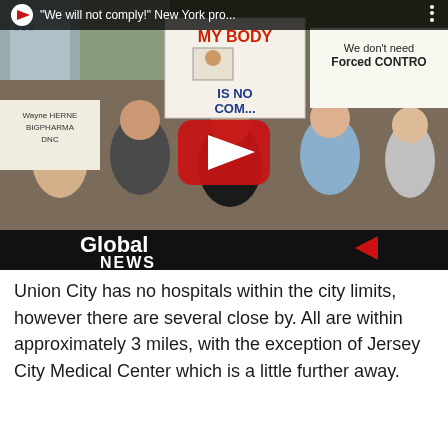[Figure (screenshot): YouTube video thumbnail showing a protest march with people holding signs reading 'MY BODY IS NO...' and 'We don't need forced CONTRO...' and 'We don't need NO Vaccinations'. Global News logo visible in bottom left. Video title bar at top reads '"We will not comply!" New York pro...'. A YouTube play button overlay is visible in the center.]
Union City has no hospitals within the city limits, however there are several close by. All are within approximately 3 miles, with the exception of Jersey City Medical Center which is a little further away.